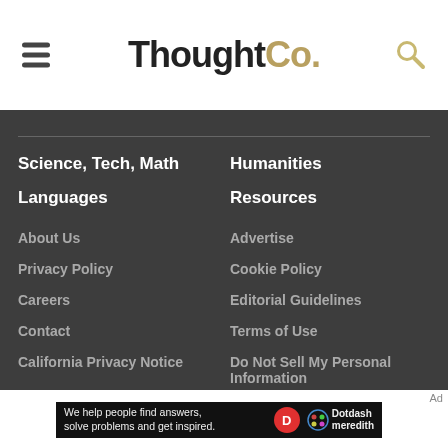ThoughtCo.
Science, Tech, Math
Humanities
Languages
Resources
About Us
Advertise
Privacy Policy
Cookie Policy
Careers
Editorial Guidelines
Contact
Terms of Use
California Privacy Notice
Do Not Sell My Personal Information
[Figure (logo): Dotdash Meredith advertisement banner with tagline: We help people find answers, solve problems and get inspired.]